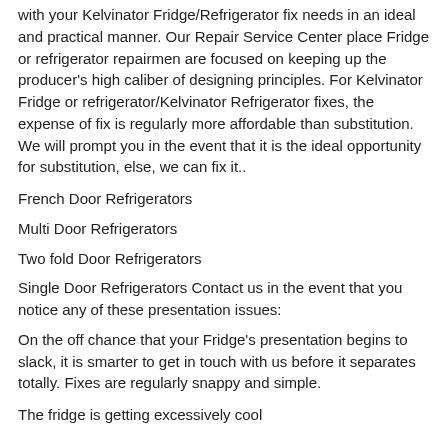with your Kelvinator Fridge/Refrigerator fix needs in an ideal and practical manner. Our Repair Service Center place Fridge or refrigerator repairmen are focused on keeping up the producer's high caliber of designing principles. For Kelvinator Fridge or refrigerator/Kelvinator Refrigerator fixes, the expense of fix is regularly more affordable than substitution. We will prompt you in the event that it is the ideal opportunity for substitution, else, we can fix it..
French Door Refrigerators
Multi Door Refrigerators
Two fold Door Refrigerators
Single Door Refrigerators Contact us in the event that you notice any of these presentation issues:
On the off chance that your Fridge's presentation begins to slack, it is smarter to get in touch with us before it separates totally. Fixes are regularly snappy and simple.
The fridge is getting excessively cool